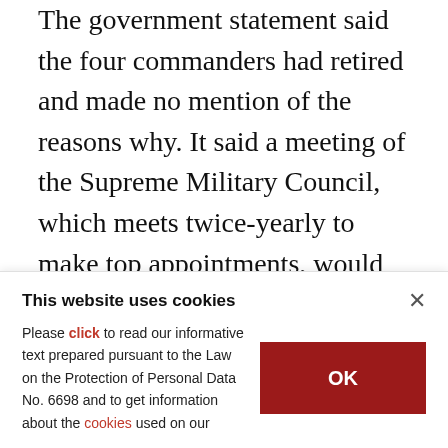The government statement said the four commanders had retired and made no mention of the reasons why. It said a meeting of the Supreme Military Council, which meets twice-yearly to make top appointments, would go ahead as planned on Monday, showing Erdoğan is in a hurry to restore the chain of command and present an image of business as usual.
The announcement dampened sentiment on Turkey's financial markets on Friday, sending...
This website uses cookies
Please click to read our informative text prepared pursuant to the Law on the Protection of Personal Data No. 6698 and to get information about the cookies used on our